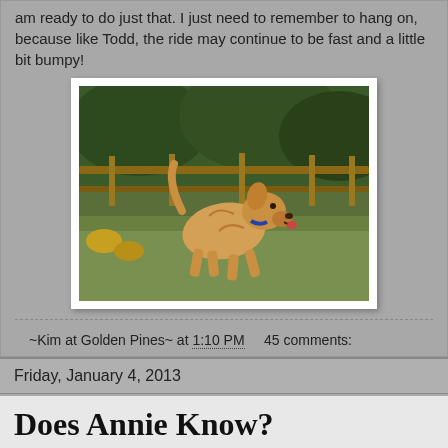am ready to do just that.  I just need to remember to hang on, because like Todd, the ride may continue to be fast and a little bit bumpy!
[Figure (photo): A golden/wheaten terrier dog running on grass in front of a wooden fence with green foliage in the background.]
~Kim at Golden Pines~ at 1:10 PM    45 comments:
Friday, January 4, 2013
Does Annie Know?